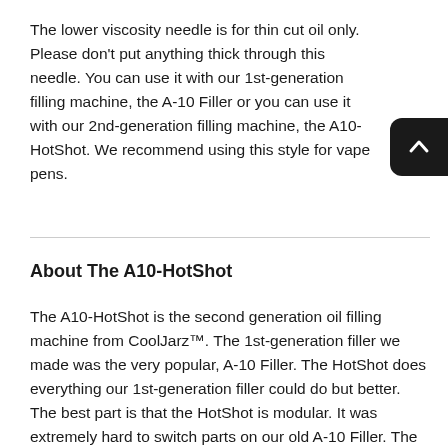The lower viscosity needle is for thin cut oil only. Please don't put anything thick through this needle. You can use it with our 1st-generation filling machine, the A-10 Filler or you can use it with our 2nd-generation filling machine, the A10-HotShot. We recommend using this style for vape pens.
About The A10-HotShot
The A10-HotShot is the second generation oil filling machine from CoolJarz™. The 1st-generation filler we made was the very popular, A-10 Filler. The HotShot does everything our 1st-generation filler could do but better. The best part is that the HotShot is modular. It was extremely hard to switch parts on our old A-10 Filler. The HotShot has parts that are easy to remove and swap out.